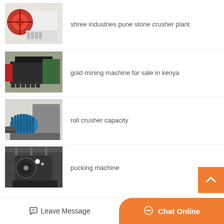shree industries pune stone crusher plant
gold mining machine for sale in kenya
roll crusher capacity
pucking machine
[Figure (photo): Orange and white jaw crusher machine]
[Figure (photo): Black industrial mining machine in factory]
[Figure (photo): Roll crusher with blue electric motor]
[Figure (photo): Large crusher machine in industrial setting]
Leave Message
Chat Online